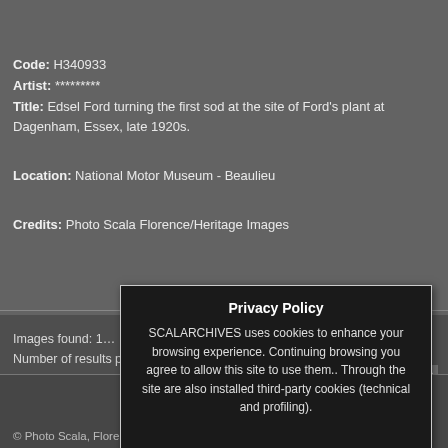Code: H340933
Artist: *********
Title: Edsel Ford turning the first sod at the site of Ford's plant at Dagenham, Essex, late 1920s.
Location: National Motor Museum - Beaulieu
Credits: Photo Scala Florence/Heritage Images
Images found: 1…
Number of results per page…
© Photo Scala, Florence/Heritage Images … copyright … by wa…
[Figure (screenshot): Privacy Policy overlay modal on dark background. Title: Privacy Policy. Body text: SCALARCHIVES uses cookies to enhance your browsing experience. Continuing browsing you agree to allow this site to use them.. Through the site are also installed third-party cookies (technical and profiling).]